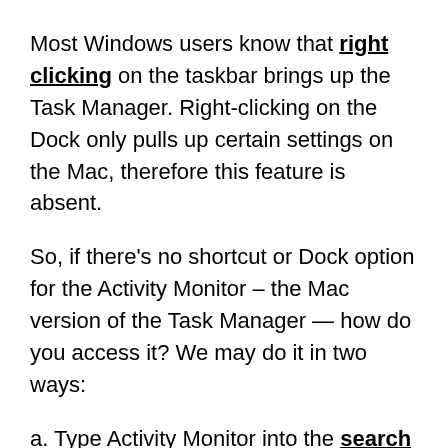Most Windows users know that right clicking on the taskbar brings up the Task Manager. Right-clicking on the Dock only pulls up certain settings on the Mac, therefore this feature is absent.
So, if there's no shortcut or Dock option for the Activity Monitor – the Mac version of the Task Manager — how do you access it? We may do it in two ways:
a. Type Activity Monitor into the search field on your Launchpad (the rocket symbol in your Dock).
b. To easily discover and open the Activity Monitor, use the Spotlight utility ( Spacebar)